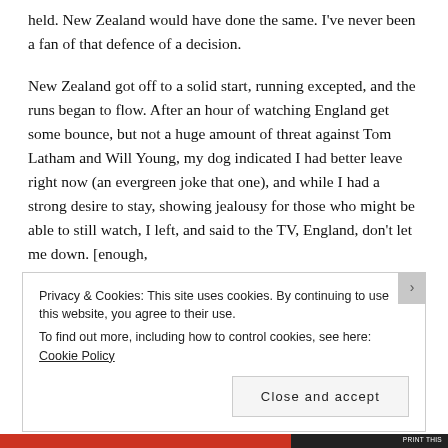held. New Zealand would have done the same. I've never been a fan of that defence of a decision.
New Zealand got off to a solid start, running excepted, and the runs began to flow. After an hour of watching England get some bounce, but not a huge amount of threat against Tom Latham and Will Young, my dog indicated I had better leave right now (an evergreen joke that one), and while I had a strong desire to stay, showing jealousy for those who might be able to still watch, I left, and said to the TV, England, don't let me down. [enough, enough Will Young]
Privacy & Cookies: This site uses cookies. By continuing to use this website, you agree to their use.
To find out more, including how to control cookies, see here: Cookie Policy